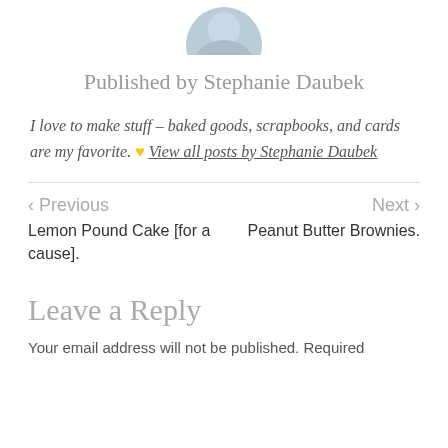[Figure (photo): Circular avatar photo of Stephanie Daubek, partially cropped at top, showing blue/gray background]
Published by Stephanie Daubek
I love to make stuff – baked goods, scrapbooks, and cards are my favorite. 🧡 View all posts by Stephanie Daubek
< Previous
Lemon Pound Cake [for a cause].
Next >
Peanut Butter Brownies.
Leave a Reply
Your email address will not be published. Required